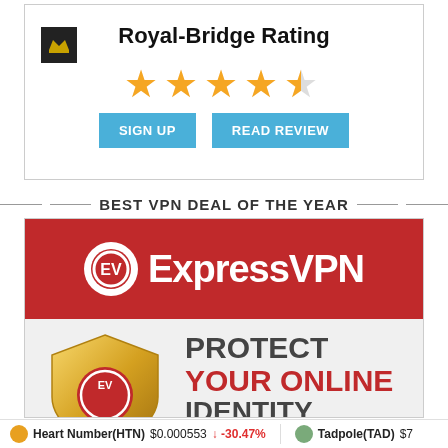Royal-Bridge Rating
[Figure (infographic): 4.5 star rating shown with orange stars]
[Figure (infographic): Sign Up and Read Review buttons in blue]
BEST VPN DEAL OF THE YEAR
[Figure (infographic): ExpressVPN advertisement with red banner showing ExpressVPN logo and text 'PROTECT YOUR ONLINE IDENTITY' with gold shield]
Heart Number(HTN) $0.000553 ↓ -30.47% Tadpole(TAD) $7...